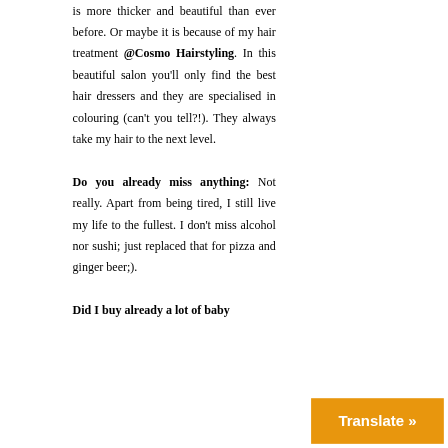is more thicker and beautiful than ever before. Or maybe it is because of my hair treatment @Cosmo Hairstyling. In this beautiful salon you'll only find the best hair dressers and they are specialised in colouring (can't you tell?!). They always take my hair to the next level.

Do you already miss anything: Not really. Apart from being tired, I still live my life to the fullest. I don't miss alcohol nor sushi; just replaced that for pizza and ginger beer;).

Did I buy already a lot of baby
[Figure (other): Orange 'Translate »' button in bottom-right corner]